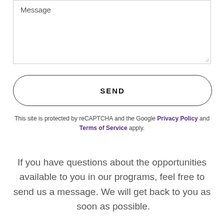Message
SEND
This site is protected by reCAPTCHA and the Google Privacy Policy and Terms of Service apply.
If you have questions about the opportunities available to you in our programs, feel free to send us a message. We will get back to you as  soon as possible.